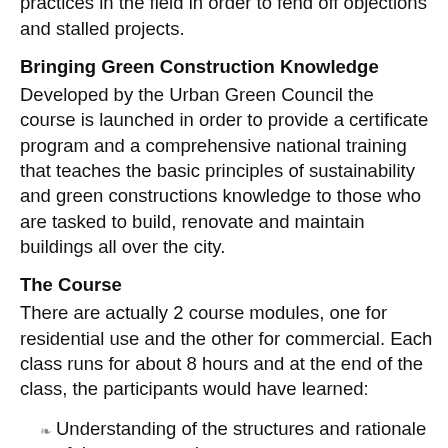practices in the field in order to fend off objections and stalled projects.
Bringing Green Construction Knowledge
Developed by the Urban Green Council the course is launched in order to provide a certificate program and a comprehensive national training that teaches the basic principles of sustainability and green constructions knowledge to those who are tasked to build, renovate and maintain buildings all over the city.
The Course
There are actually 2 course modules, one for residential use and the other for commercial. Each class runs for about 8 hours and at the end of the class, the participants would have learned:
Understanding of the structures and rationale of the energy code.
How to navigate the energy code and differentiate the compliance pathways and recognize the requirements for each.
Understanding of the interdependence of lighting and